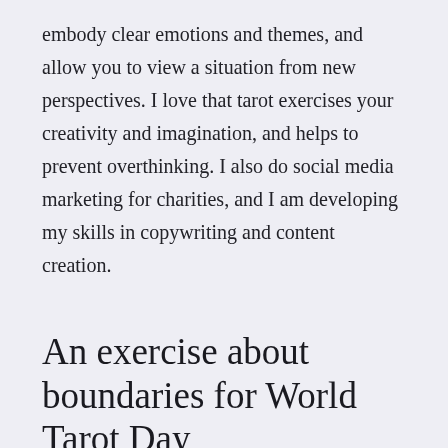embody clear emotions and themes, and allow you to view a situation from new perspectives. I love that tarot exercises your creativity and imagination, and helps to prevent overthinking. I also do social media marketing for charities, and I am developing my skills in copywriting and content creation.
An exercise about boundaries for World Tarot Day
May 25th is World Tarot Day, and to celebrate, I'm